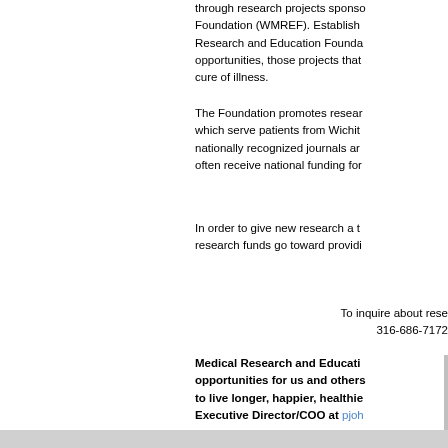through research projects sponsored by the Wichita Medical Research and Education Foundation (WMREF). Established in 1984, the Wichita Medical Research and Education Foundation funds research and education opportunities, those projects that have the most promise for the prevention, treatment, or cure of illness.
The Foundation promotes research conducted at Wichita's independent hospitals, which serve patients from Wichita and a multi-state region. Results are published in nationally recognized journals and presented at national meetings. WMREF researchers often receive national funding for their projects.
In order to give new research a toehold in this highly competitive arena, WMREF research funds go toward providing preliminary data for larger grant applications.
To inquire about research or education sponsorship opportunities, please call 316-686-7172.
Medical Research and Education Foundation creates opportunities for us and others in our community to live longer, happier, healthier lives. Contact Executive Director/COO at pjoh